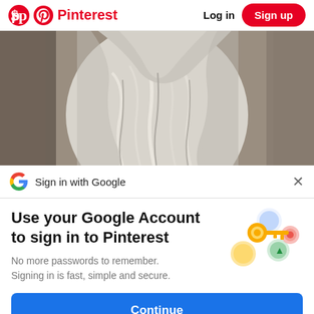Pinterest  Log in  Sign up
[Figure (photo): Close-up photo of a marble or stone classical statue showing draped fabric/robes from the torso down, with a gray stone wall background.]
Sign in with Google
Use your Google Account to sign in to Pinterest
[Figure (illustration): Google account illustration showing a golden key with circular colorful icons (blue, yellow/gold, green, red/pink) representing Google sign-in security.]
No more passwords to remember. Signing in is fast, simple and secure.
Continue